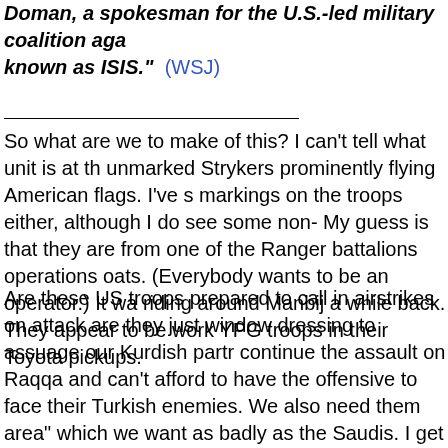Doman, a spokesman for the U.S.-led military coalition aga known as ISIS." (WSJ)
So what are we to make of this? I can't tell what unit is at th unmarked Strykers prominently flying American flags. I've s markings on the troops either, although I do see some non- My guess is that they are from one of the Ranger battalions operations oats. (Everybody wants to be an operator.) It wa riding around Manbij a while back. They appear to be work YPG troops in their Toyota pickups.
Are these US troops prepared to call in airstrikes on attack are they just window dressing to assuage our Kurdish partr continue the assault on Raqqa and can't afford to have the offensive to face their Turkish enemies. We also need them area" which we want as badly as the Saudis. I get the snea once again, cruelly use and abandon the Kurds. The only o the Rojava Kurds who will feel our perfidy. Perhaps the Ru this and seek to insert themselves between the Rojava Ku "benefactors."